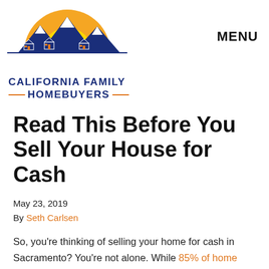[Figure (logo): California Family Homebuyers logo: a semicircular orange sun with blue mountain silhouettes and white house outlines, above the text 'California Family Homebuyers' in dark blue with orange dashes]
MENU
Read This Before You Sell Your House for Cash
May 23, 2019
By Seth Carlsen
So, you're thinking of selling your home for cash in Sacramento? You're not alone. While 85% of home sales go through a real estate agent, a traditional sale isn't the only way to transfer your property to a new owner.